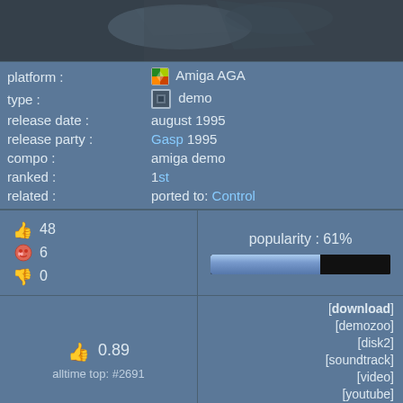[Figure (screenshot): Dark blurred top preview image of a demo]
| platform : | Amiga AGA |
| type : | demo |
| release date : | august 1995 |
| release party : | Gasp 1995 |
| compo : | amiga demo |
| ranked : | 1st |
| related : | ported to: Control |
👍 48  🐷 6  👎 0
popularity : 61%
👍 0.89
alltime top: #2691
[download]
[demozoo]
[disk2]
[soundtrack]
[video]
[youtube]
[mirrors...]
mon [graphics]
Made [graphics (additional)]